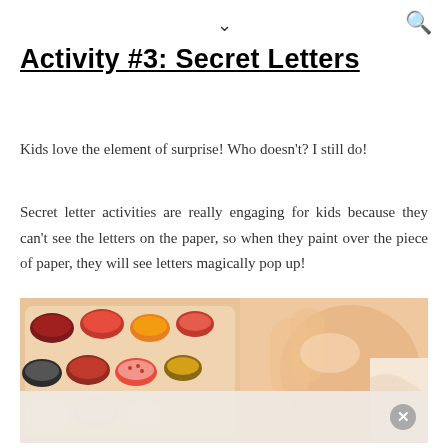chevron down, search icon
Activity #3: Secret Letters
Kids love the element of surprise! Who doesn't? I still do!
Secret letter activities are really engaging for kids because they can't see the letters on the paper, so when they paint over the piece of paper, they will see letters magically pop up!
[Figure (photo): Photo showing colorful paint pots/cups arranged in a tray on the left side, and a hand/fingers on the right side, likely demonstrating the secret letters painting activity.]